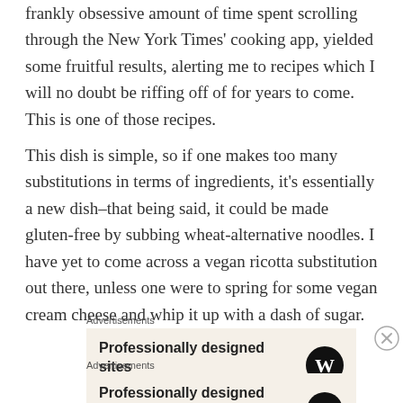frankly obsessive amount of time spent scrolling through the New York Times' cooking app, yielded some fruitful results, alerting me to recipes which I will no doubt be riffing off of for years to come. This is one of those recipes.
This dish is simple, so if one makes too many substitutions in terms of ingredients, it's essentially a new dish–that being said, it could be made gluten-free by subbing wheat-alternative noodles. I have yet to come across a vegan ricotta substitution out there, unless one were to spring for some vegan cream cheese and whip it up with a dash of sugar.
Advertisements
[Figure (other): Advertisement box with text 'Professionally designed sites in less than a week' and WordPress logo on beige background]
Advertisements
[Figure (other): Advertisement box with text 'Professionally designed sites in less than a week' and WordPress logo on beige background]